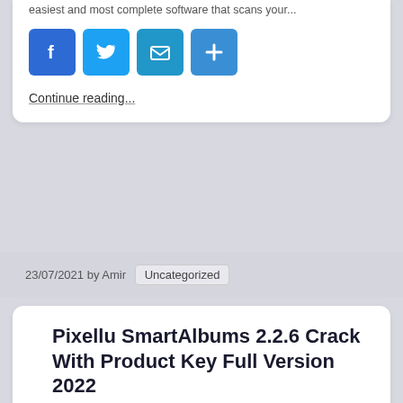easiest and most complete software that scans your...
[Figure (other): Social share buttons: Facebook, Twitter, Email, More]
Continue reading...
23/07/2021 by Amir  Uncategorized
Pixellu SmartAlbums 2.2.6 Crack With Product Key Full Version 2022
Pixellu SmartAlbums 2.2.8 Free Download Full Version With Crack Pixellu SmartAlbums Keygen contains